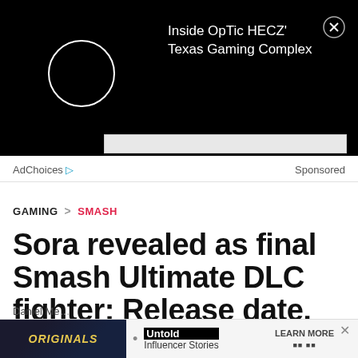[Figure (screenshot): Black video ad banner with white circle logo and text 'Inside OpTic HECZ' Texas Gaming Complex' with close X button]
AdChoices ▷   Sponsored
GAMING  >  SMASH
Sora revealed as final Smash Ultimate DLC fighter: Release date, moveset
Daniel Me...
[Figure (screenshot): Bottom ad banner with Originals logo, Untold Influencer Stories, Learn More button]